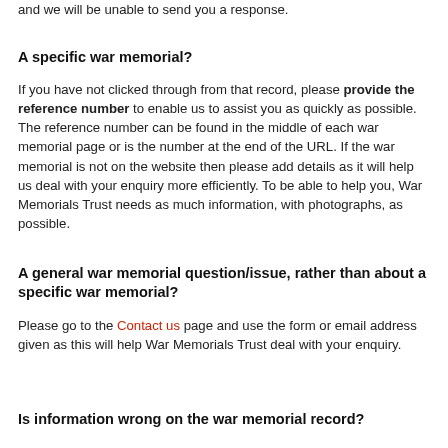and we will be unable to send you a response.
A specific war memorial?
If you have not clicked through from that record, please provide the reference number to enable us to assist you as quickly as possible. The reference number can be found in the middle of each war memorial page or is the number at the end of the URL. If the war memorial is not on the website then please add details as it will help us deal with your enquiry more efficiently. To be able to help you, War Memorials Trust needs as much information, with photographs, as possible.
A general war memorial question/issue, rather than about a specific war memorial?
Please go to the Contact us page and use the form or email address given as this will help War Memorials Trust deal with your enquiry.
Is information wrong on the war memorial record?